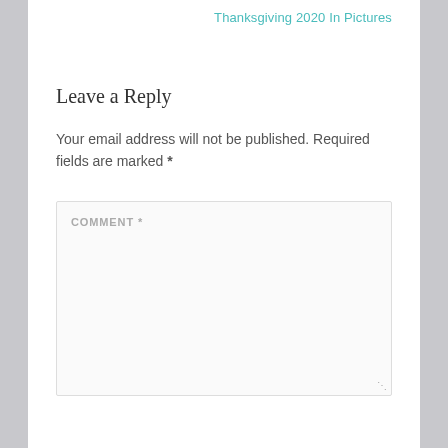Thanksgiving 2020 In Pictures
Leave a Reply
Your email address will not be published. Required fields are marked *
COMMENT *